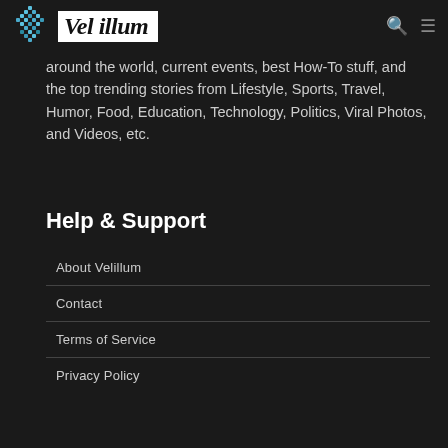Vel illum
around the world, current events, best How-To stuff, and the top trending stories from Lifestyle, Sports, Travel, Humor, Food, Education, Technology, Politics, Viral Photos, and Videos, etc.
Help & Support
About Velillum
Contact
Terms of Service
Privacy Policy